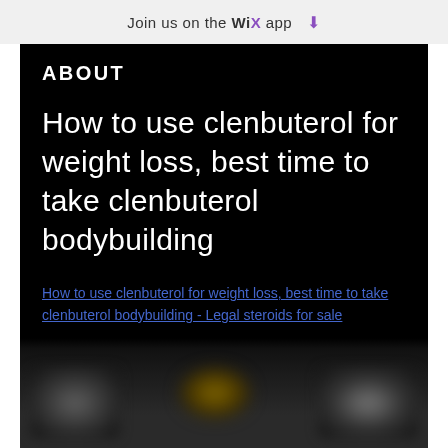Join us on the WiX app ⬇
ABOUT
How to use clenbuterol for weight loss, best time to take clenbuterol bodybuilding
How to use clenbuterol for weight loss, best time to take clenbuterol bodybuilding - Legal steroids for sale
[Figure (photo): Blurred/obscured image at the bottom of the page, content not discernible]